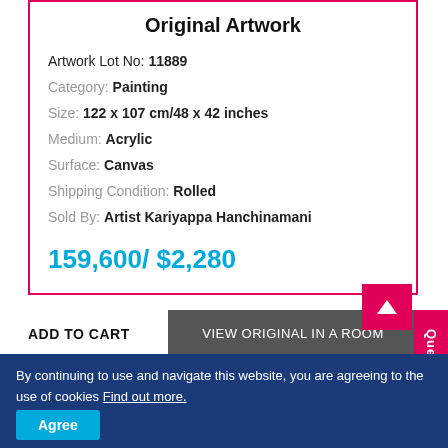Original Artwork
Artwork Lot No: 11889
Category: Painting
Size: 122 x 107 cm/48 x 42 inches
Medium: Acrylic
Surface: Canvas
Shipping Condition: Rolled
Sold By: Artist Kariyappa Hanchinamani
159,600/ $2,280
ADD TO CART
VIEW ORIGINAL IN A ROOM
Query
Shipping is Free in India
Prices are all inclusive
By continuing to use and navigate this website, you are agreeing to the use of cookies Find out more.
Agree